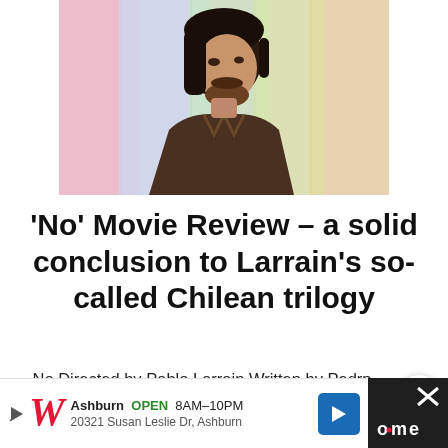[Figure (photo): A young man with dark hair and a beard, shown in profile/three-quarter view, against a colorful pastel-striped background. Still from the film 'No'.]
'No' Movie Review – a solid conclusion to Larrain's so-called Chilean trilogy
No Directed by Pablo Larrain Written by Pedrp Peirano Starring Gael Garcia Berna…
[Figure (other): Advertisement bar: Walgreens Ashburn OPEN 8AM-10PM, 20321 Susan Leslie Dr, Ashburn, with navigation arrow icon and overlaid dark block on the right.]